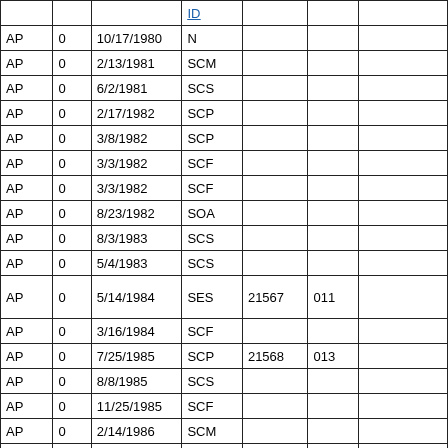|  |  |  | ID |  |  |
| --- | --- | --- | --- | --- | --- |
| AP | 0 | 10/17/1980 | N |  |  |
| AP | 0 | 2/13/1981 | SCM |  |  |
| AP | 0 | 6/2/1981 | SCS |  |  |
| AP | 0 | 2/17/1982 | SCP |  |  |
| AP | 0 | 3/8/1982 | SCP |  |  |
| AP | 0 | 3/3/1982 | SCF |  |  |
| AP | 0 | 3/3/1982 | SCF |  |  |
| AP | 0 | 8/23/1982 | SOA |  |  |
| AP | 0 | 8/3/1983 | SCS |  |  |
| AP | 0 | 5/4/1983 | SCS |  |  |
| AP | 0 | 5/14/1984 | SES | 21567 | 011 |
| AP | 0 | 3/16/1984 | SCF |  |  |
| AP | 0 | 7/25/1985 | SCP | 21568 | 013 |
| AP | 0 | 8/8/1985 | SCS |  |  |
| AP | 0 | 11/25/1985 | SCF |  |  |
| AP | 0 | 2/14/1986 | SCM |  |  |
| AP | 0 | 10/23/1986 | SCS |  |  |
| AP | 0 | 6/26/1987 | SCP |  |  |
| AP | 0 | 12/10/1987 | SCS |  |  |